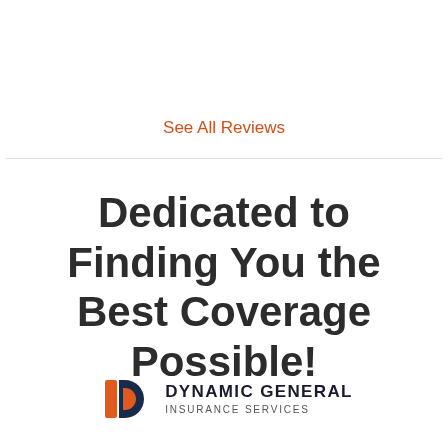See All Reviews
Dedicated to Finding You the Best Coverage Possible!
[Figure (logo): Dynamic General Insurance Services logo with orange and dark blue geometric D-shape icon on the left, and bold text DYNAMIC GENERAL INSURANCE SERVICES on the right]